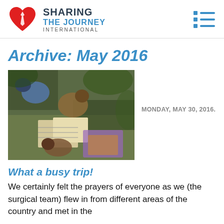SHARING THE JOURNEY INTERNATIONAL
Archive: May 2016
[Figure (photo): Overhead view of people gathered around papers/books on the ground, tropical outdoor setting]
MONDAY, MAY 30, 2016.
What a busy trip!
We certainly felt the prayers of everyone as we (the surgical team) flew in from different areas of the country and met in the